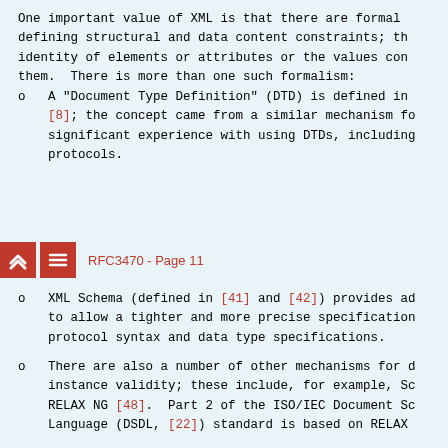One important value of XML is that there are formal defining structural and data content constraints; th identity of elements or attributes or the values con them.  There is more than one such formalism:
A "Document Type Definition" (DTD) is defined in [8]; the concept came from a similar mechanism fo significant experience with using DTDs, including protocols.
RFC3470 - Page 11
XML Schema (defined in [41] and [42]) provides ad to allow a tighter and more precise specification protocol syntax and data type specifications.
There are also a number of other mechanisms for d instance validity; these include, for example, Sc RELAX NG [48].  Part 2 of the ISO/IEC Document Sc Language (DSDL, [22]) standard is based on RELAX